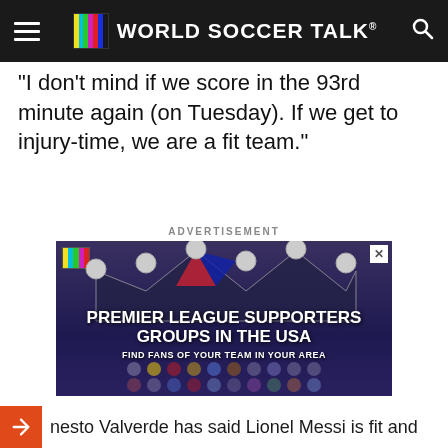WORLD SOCCER TALK
"I don't mind if we score in the 93rd minute again (on Tuesday). If we get to injury-time, we are a fit team."
ADVERTISEMENT
[Figure (photo): Advertisement for Premier League Supporters Groups in the USA - Find fans of your team in your area, showing a crown made of flags with team icons below]
nesto Valverde has said Lionel Messi is fit and